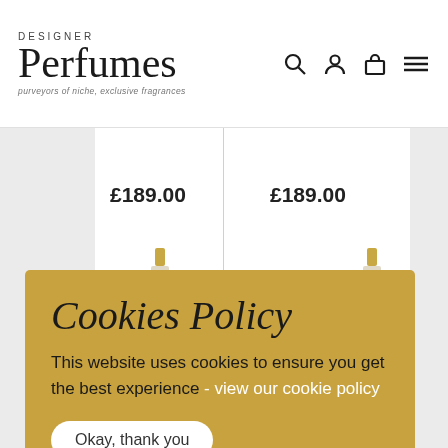DESIGNER Perfumes - purveyors of niche, exclusive fragrances
£189.00
£189.00
Cookies Policy
This website uses cookies to ensure you get the best experience - view our cookie policy
Okay, thank you
£225.00